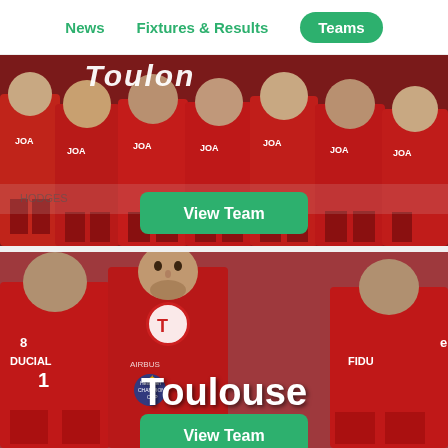News  Fixtures & Results  Teams
[Figure (photo): Toulon rugby team players in red jerseys with JOA sponsor, standing on pitch. Partially visible team name overlay reading 'Toulon' at top. Green 'View Team' button overlaid on image.]
[Figure (photo): Toulouse rugby team players in red DUCIAL/AIRBUS jerseys. Player facing camera with Toulouse club crest badge visible on chest. Text overlay reads 'Toulouse' with green 'View Team' button below.]